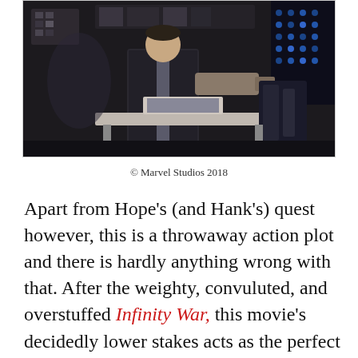[Figure (photo): A dimly lit scene showing a person in a vest working at a high-tech workstation with robotic/mechanical equipment and blue light displays in the background.]
© Marvel Studios 2018
Apart from Hope's (and Hank's) quest however, this is a throwaway action plot and there is hardly anything wrong with that. After the weighty, convuluted, and overstuffed Infinity War, this movie's decidedly lower stakes acts as the perfect palate cleanser reminding us that superhero movies are for the most part supposed to be fun. Thanks to Ant-Man and the Wasp's